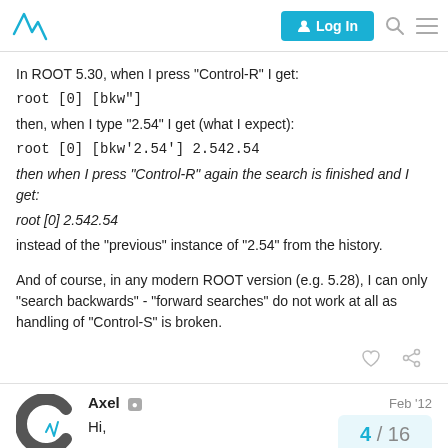Log In
In ROOT 5.30, when I press "Control-R" I get:
root [0] [bkw"]
then, when I type "2.54" I get (what I expect):
root [0] [bkw'2.54'] 2.542.54
then when I press "Control-R" again the search is finished and I get:
root [0] 2.542.54
instead of the "previous" instance of "2.54" from the history.
And of course, in any modern ROOT version (e.g. 5.28), I can only "search backwards" - "forward searches" do not work at all as handling of "Control-S" is broken.
Axel Feb '12
Hi,
4 / 16